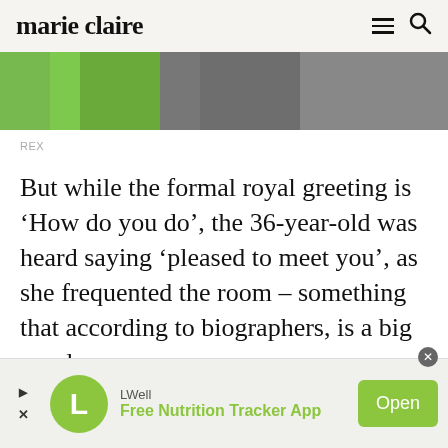marie claire
[Figure (photo): Partial photo showing a person in a bright green/lime coat holding flowers, and another person in dark clothing beside them]
REX
But while the formal royal greeting is ‘How do you do’, the 36-year-old was heard saying ‘pleased to meet you’, as she frequented the room – something that according to biographers, is a big royal no-no.
[Figure (screenshot): Mobile advertisement banner for LWell Free Nutrition Tracker App with green logo, brand name, description and Open button]